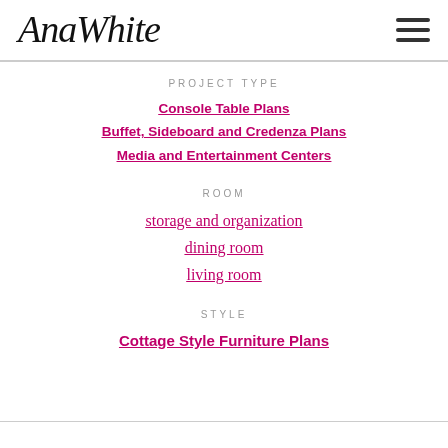[Figure (logo): AnaWhite handwritten script logo]
PROJECT TYPE
Console Table Plans
Buffet, Sideboard and Credenza Plans
Media and Entertainment Centers
ROOM
storage and organization
dining room
living room
STYLE
Cottage Style Furniture Plans